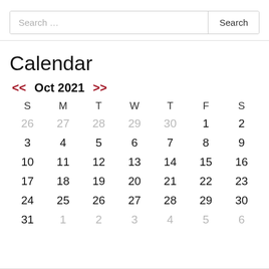Search …
Calendar
| S | M | T | W | T | F | S |
| --- | --- | --- | --- | --- | --- | --- |
| 26 | 27 | 28 | 29 | 30 | 1 | 2 |
| 3 | 4 | 5 | 6 | 7 | 8 | 9 |
| 10 | 11 | 12 | 13 | 14 | 15 | 16 |
| 17 | 18 | 19 | 20 | 21 | 22 | 23 |
| 24 | 25 | 26 | 27 | 28 | 29 | 30 |
| 31 | 1 | 2 | 3 | 4 | 5 | 6 |